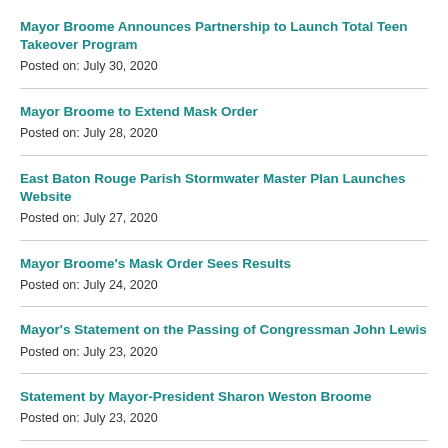Mayor Broome Announces Partnership to Launch Total Teen Takeover Program
Posted on: July 30, 2020
Mayor Broome to Extend Mask Order
Posted on: July 28, 2020
East Baton Rouge Parish Stormwater Master Plan Launches Website
Posted on: July 27, 2020
Mayor Broome's Mask Order Sees Results
Posted on: July 24, 2020
Mayor's Statement on the Passing of Congressman John Lewis
Posted on: July 23, 2020
Statement by Mayor-President Sharon Weston Broome
Posted on: July 23, 2020